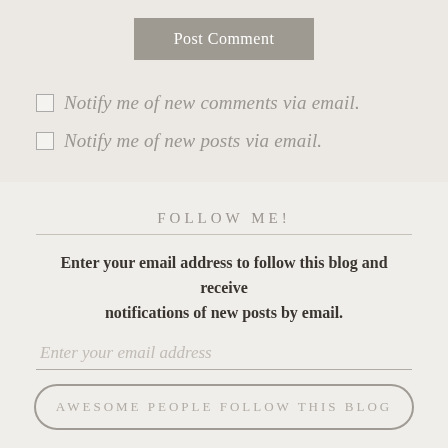Post Comment
Notify me of new comments via email.
Notify me of new posts via email.
FOLLOW ME!
Enter your email address to follow this blog and receive notifications of new posts by email.
Enter your email address
AWESOME PEOPLE FOLLOW THIS BLOG